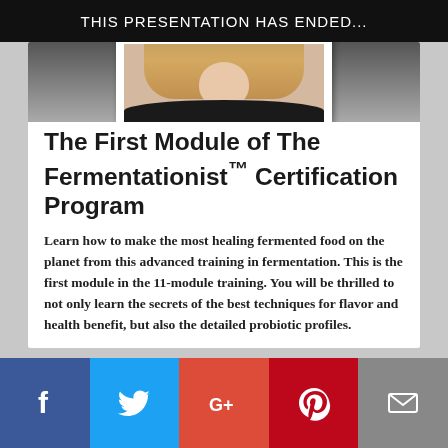THIS PRESENTATION HAS ENDED...
[Figure (photo): Partial photo of a person with blonde hair and dark clothing, shown in a polaroid-style frame at the top of the card]
The First Module of The Fermentationist™ Certification Program
Learn how to make the most healing fermented food on the planet from this advanced training in fermentation. This is the first module in the 11-module training. You will be thrilled to not only learn the secrets of the best techniques for flavor and health benefit, but also the detailed probiotic profiles.
Facebook Twitter Google+ Pinterest Email social share buttons